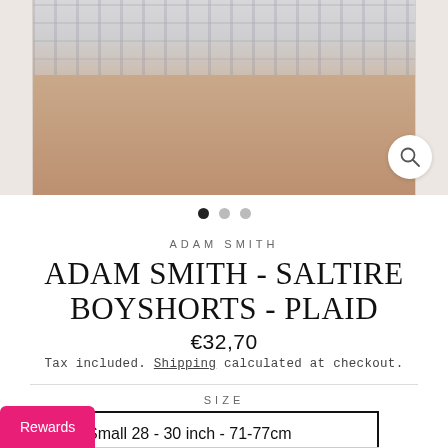[Figure (photo): Product photo of a model wearing Adam Smith Saltire Boyshorts in Plaid pattern, cropped to show legs and shorts. Three navigation dots below the image indicate multiple photos.]
ADAM SMITH
ADAM SMITH - SALTIRE BOYSHORTS - PLAID
€32,70
Tax included. Shipping calculated at checkout.
SIZE
Small 28 - 30 inch - 71-77cm
Medium 30 - 32 inch - 77-81...